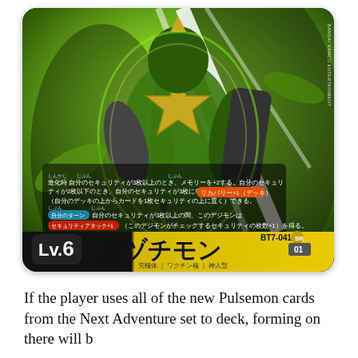[Figure (illustration): Digimon trading card BT7-041 featuring Kazuchmon (カヅチモン), a Level 6 Vaccine-type Angel Digimon with green and dark armor. The card shows Japanese text describing evolution abilities including Security recovery and Security Attack+1 effects. Card number BT7-041, rarity SR, numbered 01. Bottom bar shows Lv.6 with yellow name plate reading カヅチモン and subtitle 究極体 | ワクチン種 | 神人型.]
If the player uses all of the new Pulsemon cards from the Next Adventure set to deck, forming on there will b...